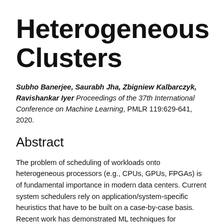Heterogeneous Clusters
Subho Banerjee, Saurabh Jha, Zbigniew Kalbarczyk, Ravishankar Iyer Proceedings of the 37th International Conference on Machine Learning, PMLR 119:629-641, 2020.
Abstract
The problem of scheduling of workloads onto heterogeneous processors (e.g., CPUs, GPUs, FPGAs) is of fundamental importance in modern data centers. Current system schedulers rely on application/system-specific heuristics that have to be built on a case-by-case basis. Recent work has demonstrated ML techniques for automating the heuristic search by using black box